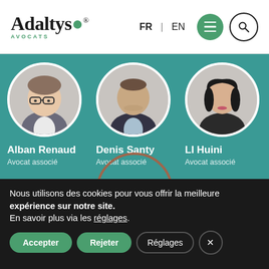[Figure (logo): Adaltys Avocats logo with green dot accent and AVOCATS subtitle]
[Figure (photo): Three circular portrait photos of lawyers: Alban Renaud, Denis Santy, LI Huini on teal background. Names and titles shown below each photo.]
Nous utilisons des cookies pour vous offrir la meilleure expérience sur notre site.
En savoir plus via les réglages.
Accepter | Rejeter | Réglages | ×